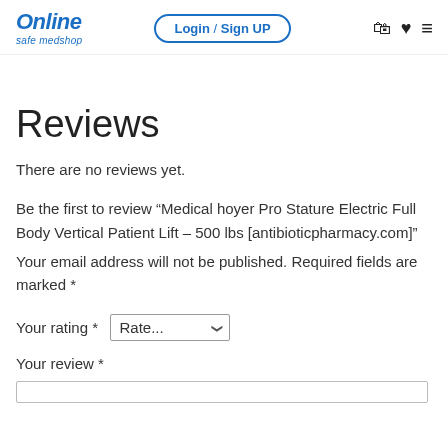Online safe medshop | Login / Sign UP
Reviews
There are no reviews yet.
Be the first to review “Medical hoyer Pro Stature Electric Full Body Vertical Patient Lift – 500 lbs [antibioticpharmacy.com]"
Your email address will not be published. Required fields are marked *
Your rating *
Your review *